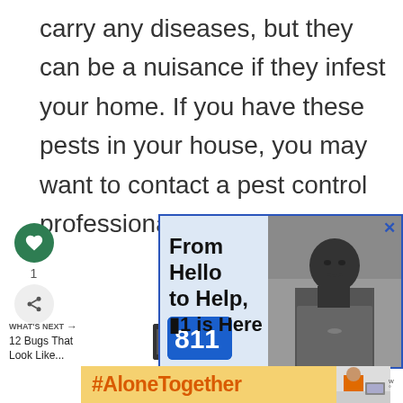carry any diseases, but they can be a nuisance if they infest your home. If you have these pests in your house, you may want to contact a pest control professional to get rid of them.
[Figure (screenshot): Advertisement banner: '88 is Here' with a black and white photo of a young woman, blue border, light blue background]
[Figure (screenshot): Navigation element showing WHAT'S NEXT arrow and '12 Bugs That Look Like...' with a thumbnail image]
[Figure (screenshot): Advertisement: '#AloneTogether' in orange text on yellow background, with a photo of a woman at a desk, and weather channel logo]